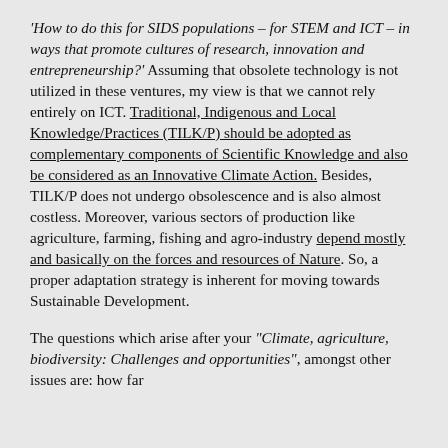'How to do this for SIDS populations – for STEM and ICT – in ways that promote cultures of research, innovation and entrepreneurship?' Assuming that obsolete technology is not utilized in these ventures, my view is that we cannot rely entirely on ICT. Traditional, Indigenous and Local Knowledge/Practices (TILK/P) should be adopted as complementary components of Scientific Knowledge and also be considered as an Innovative Climate Action. Besides, TILK/P does not undergo obsolescence and is also almost costless. Moreover, various sectors of production like agriculture, farming, fishing and agro-industry depend mostly and basically on the forces and resources of Nature. So, a proper adaptation strategy is inherent for moving towards Sustainable Development.
The questions which arise after your "Climate, agriculture, biodiversity: Challenges and opportunities", amongst other issues are: how far